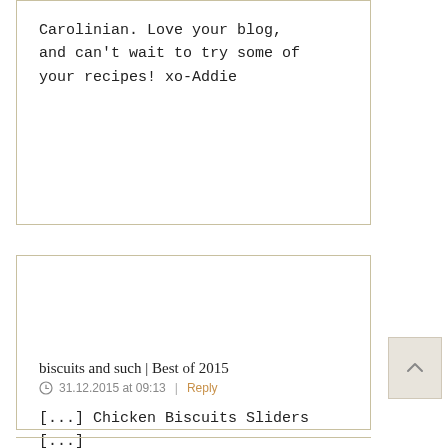Carolinian. Love your blog, and can't wait to try some of your recipes! xo-Addie
biscuits and such | Best of 2015
31.12.2015 at 09:13  |  Reply
[...] Chicken Biscuits Sliders [...]